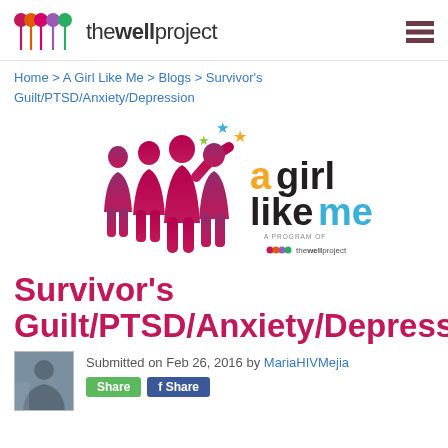thewellproject
Home > A Girl Like Me > Blogs > Survivor's Guilt/PTSD/Anxiety/Depression
[Figure (logo): A Girl Like Me logo — silhouettes of four women with stars above, bold text 'a girl like me' in black and cyan, orange 'a', tagline 'A PROGRAM OF thewellproject']
Survivor's Guilt/PTSD/Anxiety/Depression
Submitted on Feb 26, 2016 by MariaHIVMejia